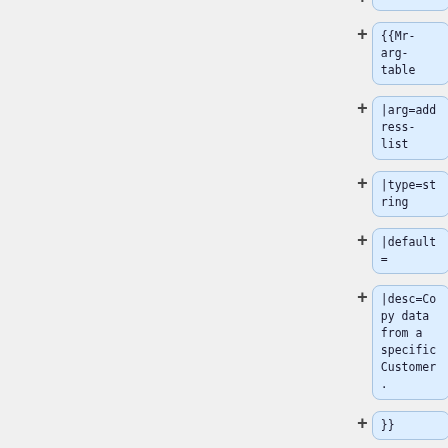[Figure (flowchart): A vertical flowchart showing wiki template node boxes with '+' expand buttons. Nodes from top to bottom: (partial top node), {{Mr-arg-table, |arg=address-list, |type=string, |default=, |desc=Copy data from a specific Customer., }}, (empty node), {{Mr-arg-table, |arg=copy-]